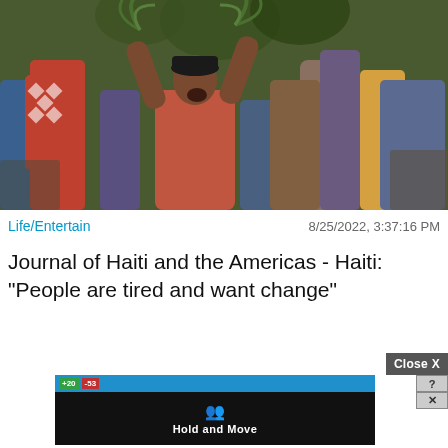[Figure (photo): Crowd of protesters in Haiti; a man in a pink shirt raises his arms holding palm leaves while shouting, surrounded by a dense crowd of people]
Life/Entertain
8/25/2022, 3:37:16 PM
Journal of Haiti and the Americas - Haiti: "People are tired and want change"
[Figure (screenshot): Bottom advertisement overlay: 'Close X' button in upper right, a mobile game ad for 'Hold and Move' showing player icons on a dark background with a blue score bar at top, with help (?) and close (X) buttons in the top right corner of the ad]
Close X
Hold and Move